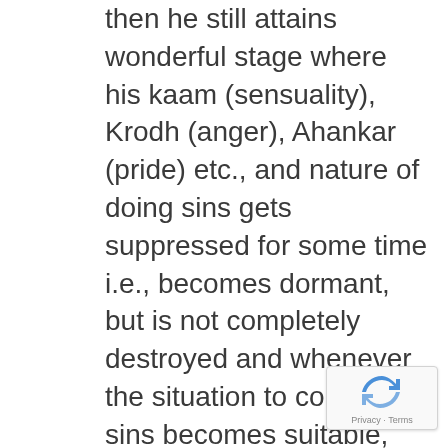then he still attains wonderful stage where his kaam (sensuality), Krodh (anger), Ahankar (pride) etc., and nature of doing sins gets suppressed for some time i.e., becomes dormant, but is not completely destroyed and whenever the situation to commit sins becomes suitable, the tapsvi gets indulged in sins.

I also advise you to do the following-
[Figure (other): reCAPTCHA badge with Privacy and Terms text]